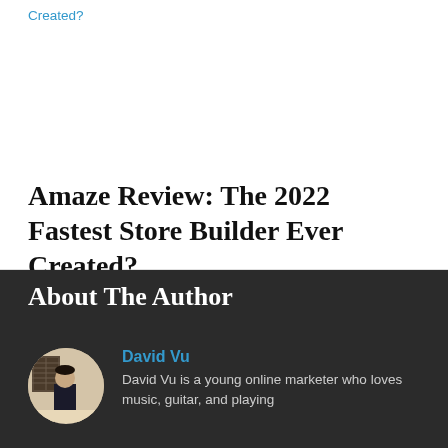Amaze Review: The 2022 Fastest Store Builder Ever Created?
About The Author
David Vu
David Vu is a young online marketer who loves music, guitar, and playing